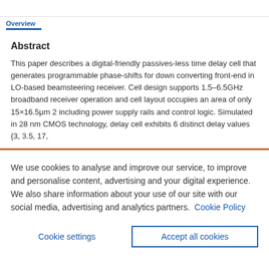Abstract
This paper describes a digital-friendly passives-less time delay cell that generates programmable phase-shifts for down converting front-end in LO-based beamsteering receiver. Cell design supports 1.5–6.5GHz broadband receiver operation and cell layout occupies an area of only 15×16.5μm 2 including power supply rails and control logic. Simulated in 28nm CMOS technology, delay cell exhibits 6 distinct delay values {3, 3.5, 17,
We use cookies to analyse and improve our service, to improve and personalise content, advertising and your digital experience. We also share information about your use of our site with our social media, advertising and analytics partners.  Cookie Policy
Cookie settings   Accept all cookies